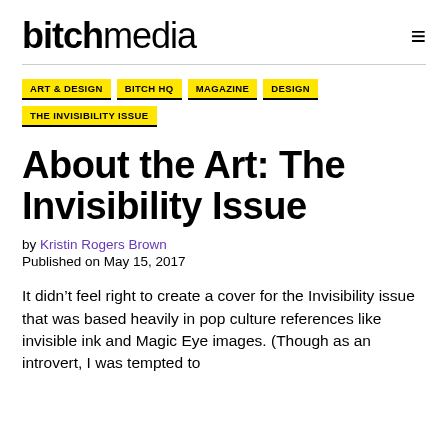bitch media
ART & DESIGN
BITCH HQ
MAGAZINE
DESIGN
THE INVISIBILITY ISSUE
About the Art: The Invisibility Issue
by Kristin Rogers Brown
Published on May 15, 2017
It didn’t feel right to create a cover for the Invisibility issue that was based heavily in pop culture references like invisible ink and Magic Eye images. (Though as an introvert, I was tempted to